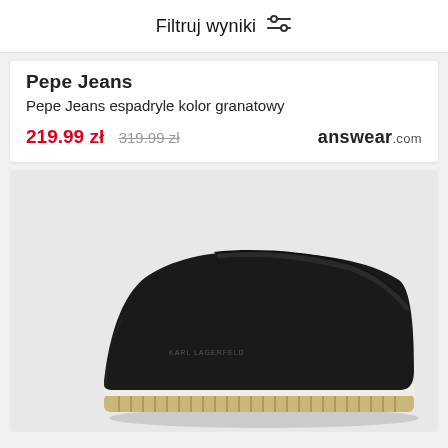Filtruj wyniki
Pepe Jeans
Pepe Jeans espadryle kolor granatowy
219.99 zł  319.99 zł  answear.com
[Figure (photo): Black espadrille shoe with rope sole on light grey background]